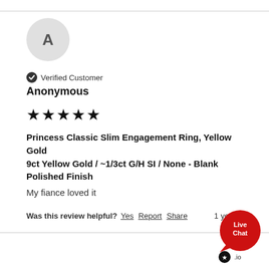[Figure (illustration): Circular avatar with letter A on light gray background]
Verified Customer
Anonymous
[Figure (illustration): Five black star rating]
Princess Classic Slim Engagement Ring, Yellow Gold 9ct Yellow Gold / ~1/3ct G/H SI / None - Blank Polished Finish
My fiance loved it
Was this review helpful? Yes Report Share
1 year ago
[Figure (illustration): Red Live Chat button with speech bubble shape and .io badge]